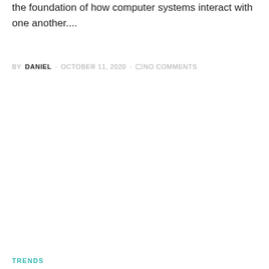the foundation of how computer systems interact with one another....
BY DANIEL · OCTOBER 11, 2020 · NO COMMENTS
TRENDS